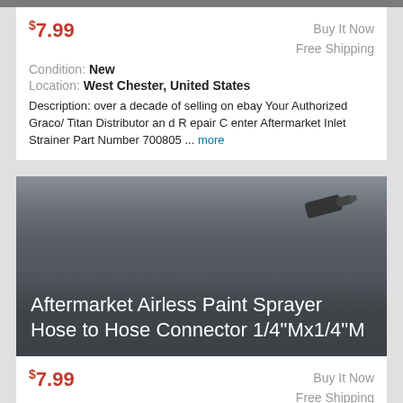$7.99 | Buy It Now | Free Shipping
Condition: New
Location: West Chester, United States
Description: over a decade of selling on ebay Your Authorized Graco/ Titan Distributor an d R epair C enter Aftermarket Inlet Strainer Part Number 700805 ... more
[Figure (photo): Product photo of airless paint sprayer hose connector 1/4"Mx1/4"M with text overlay]
Aftermarket Airless Paint Sprayer Hose to Hose Connector 1/4"Mx1/4"M
$7.99 | Buy It Now | Free Shipping
Condition: New
Location: West Chester, United States
This will work to connect your 1/4" by 1/4" hoses together. No exceptions, lower 48 states ONLY. Wo